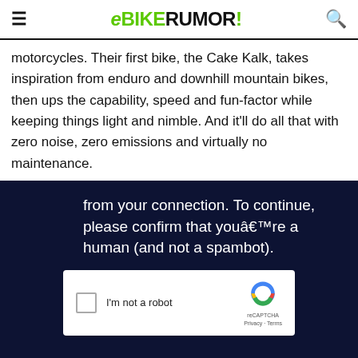eBIKERUMOR!
motorcycles. Their first bike, the Cake Kalk, takes inspiration from enduro and downhill mountain bikes, then ups the capability, speed and fun-factor while keeping things light and nimble. And it'll do all that with zero noise, zero emissions and virtually no maintenance.
[Figure (screenshot): Dark navy overlay with CAPTCHA verification prompt: 'from your connection. To continue, please confirm that youâ€™re a human (and not a spambot).' with a reCAPTCHA checkbox widget below showing 'I'm not a robot' and reCAPTCHA branding.]